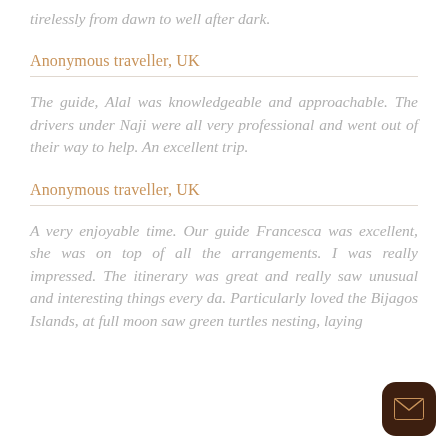tirelessly from dawn to well after dark.
Anonymous traveller, UK
The guide, Alal was knowledgeable and approachable. The drivers under Naji were all very professional and went out of their way to help. An excellent trip.
Anonymous traveller, UK
A very enjoyable time. Our guide Francesca was excellent, she was on top of all the arrangements. I was really impressed. The itinerary was great and really saw unusual and interesting things every da. Particularly loved the Bijagos Islands, at full moon saw green turtles nesting, laying